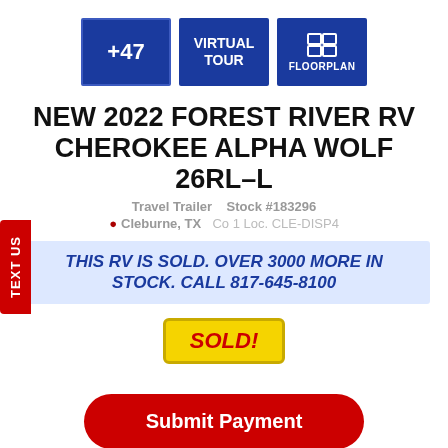[Figure (infographic): Three blue buttons: +47 (photo count), VIRTUAL TOUR, and FLOORPLAN with icon]
NEW 2022 FOREST RIVER RV CHEROKEE ALPHA WOLF 26RL-L
Travel Trailer   Stock #183296
Cleburne, TX   Co 1 Loc. CLE-DISP4
THIS RV IS SOLD. OVER 3000 MORE IN STOCK. CALL 817-645-8100
SOLD!
TEXT US
Submit Payment